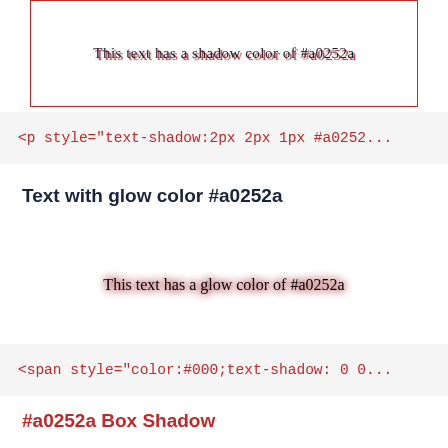[Figure (other): A bordered box containing text with a text-shadow effect: 'This text has a shadow color of #a0252a']
<p style="text-shadow:2px 2px 1px #a0252...
Text with glow color #a0252a
This text has a glow color of #a0252a
<span style="color:#000;text-shadow: 0 0...
#a0252a Box Shadow